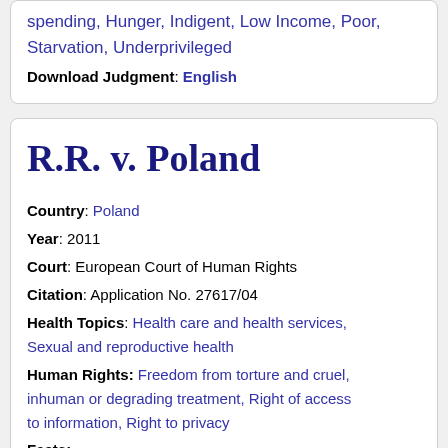spending, Hunger, Indigent, Low Income, Poor, Starvation, Underprivileged
Download Judgment: English
R.R. v. Poland
Country: Poland
Year: 2011
Court: European Court of Human Rights
Citation: Application No. 27617/04
Health Topics: Health care and health services, Sexual and reproductive health
Human Rights: Freedom from torture and cruel, inhuman or degrading treatment, Right of access to information, Right to privacy
Facts: